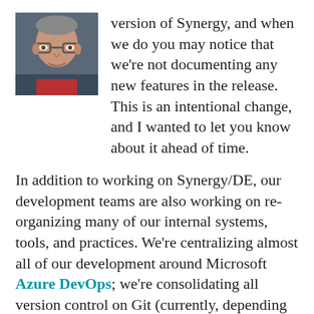[Figure (photo): Headshot photo of a middle-aged man with glasses wearing a dark jacket and red shirt]
version of Synergy, and when we do you may notice that we're not documenting any new features in the release. This is an intentional change, and I wanted to let you know about it ahead of time.
In addition to working on Synergy/DE, our development teams are also working on re-organizing many of our internal systems, tools, and practices. We're centralizing almost all of our development around Microsoft Azure DevOps; we're consolidating all version control on Git (currently, depending on the product area and platform, we also use PVCS and Subversion), we're making extensive use of CICD principles and tools to build automated build and test pipelines for all aspects of the product, and much more.